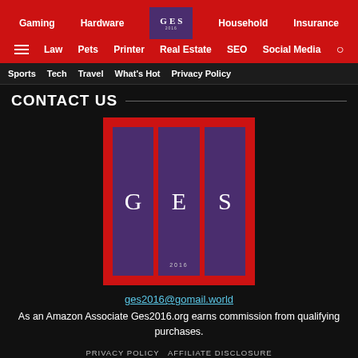Gaming  Hardware  Health  Household  Insurance  Law  Pets  Printer  Real Estate  SEO  Social Media
Sports  Tech  Travel  What's Hot  Privacy Policy
CONTACT US
[Figure (logo): GES 2016 logo — three purple panels on red background with letters G, E, S and year 2016]
ges2016@gomail.world
As an Amazon Associate Ges2016.org earns commission from qualifying purchases.
PRIVACY POLICY  AFFILIATE DISCLOSURE